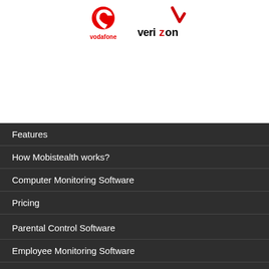[Figure (logo): Vodafone and Verizon logos side by side at top of page]
Features
How Mobistealth works?
Computer Monitoring Software
Pricing
Parental Control Software
Employee Monitoring Software
Cell Phone Tracker
FAQ's
Affiliates
Refund Policy
Contact
Terms & Conditions
Privacy Policy